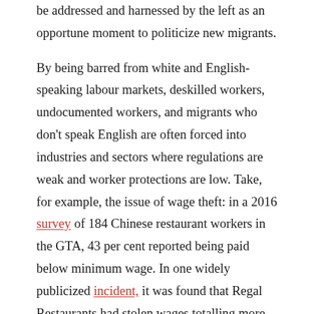be addressed and harnessed by the left as an opportune moment to politicize new migrants.
By being barred from white and English-speaking labour markets, deskilled workers, undocumented workers, and migrants who don't speak English are often forced into industries and sectors where regulations are weak and worker protections are low. Take, for example, the issue of wage theft: in a 2016 survey of 134 Chinese restaurant workers in the GTA, 43 per cent reported being paid below minimum wage. In one widely publicized incident, it was found that Regal Restaurants had stolen wages totalling more than $650,000 from over 60 Chinese restaurant workers in the GTA.